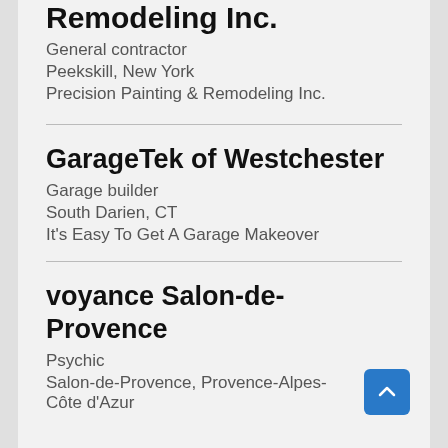Remodeling Inc. (partial)
General contractor
Peekskill, New York
Precision Painting & Remodeling Inc.
GarageTek of Westchester
Garage builder
South Darien, CT
It's Easy To Get A Garage Makeover
voyance Salon-de-Provence
Psychic
Salon-de-Provence, Provence-Alpes-Côte d'Azur